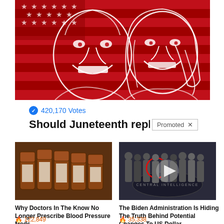[Figure (illustration): Red-background illustration of two smiling faces (man and woman) drawn in white line art over an American flag motif with stars and stripes]
420,170 Votes
Should Juneteenth replace
Promoted X
[Figure (photo): Photo of several amber prescription medicine bottles lined up]
Why Doctors In The Know No Longer Prescribe Blood Pressure Meds
122,849
[Figure (photo): Photo of a group of men in suits standing in a formal setting, possibly a government building, with a play button overlay and a red circle highlighting one individual]
The Biden Administration Is Hiding The Truth Behind Potential Changes To US Dollar
35,338